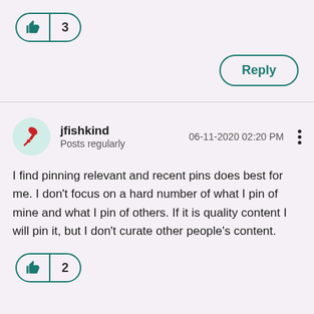[Figure (other): Like button with thumbs up icon and count of 3]
[Figure (other): Reply button]
[Figure (other): User avatar with red pushpin icon for jfishkind]
jfishkind
Posts regularly
06-11-2020 02:20 PM
I find pinning relevant and recent pins does best for me. I don't focus on a hard number of what I pin of mine and what I pin of others. If it is quality content I will pin it, but I don't curate other people's content.
[Figure (other): Like button with thumbs up icon and count of 2]